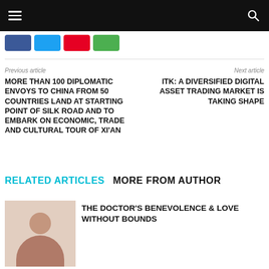Navigation bar with hamburger menu and search icon
[Figure (screenshot): Social share buttons: Facebook (blue), Twitter (cyan), Pinterest (red), WhatsApp (green)]
Previous article
MORE THAN 100 DIPLOMATIC ENVOYS TO CHINA FROM 50 COUNTRIES LAND AT STARTING POINT OF SILK ROAD AND TO EMBARK ON ECONOMIC, TRADE AND CULTURAL TOUR OF XI'AN
Next article
ITK: A DIVERSIFIED DIGITAL ASSET TRADING MARKET IS TAKING SHAPE
RELATED ARTICLES   MORE FROM AUTHOR
THE DOCTOR'S BENEVOLENCE & LOVE WITHOUT BOUNDS